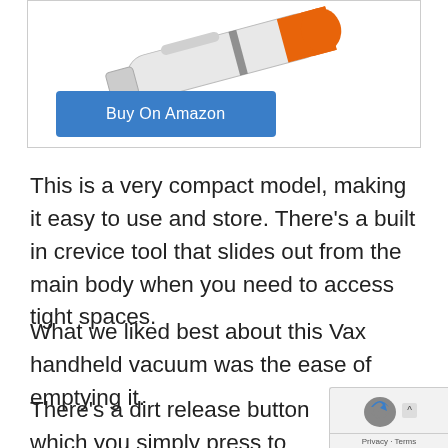[Figure (photo): Product image of a handheld vacuum cleaner (orange and white/grey), shown at top of a bordered product card with a Buy On Amazon button below it.]
This is a very compact model, making it easy to use and store. There’s a built in crevice tool that slides out from the main body when you need to access tight spaces.
What we liked best about this Vax handheld vacuum was the ease of emptying it.
There’s a dirt release button which you simply press to open the mouth of the
[Figure (other): Google reCAPTCHA / Privacy widget overlay in bottom-right corner showing a shield icon with blue and grey arrow, with Privacy - Terms text below.]